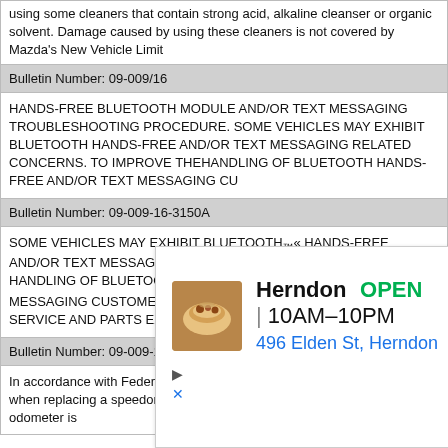using some cleaners that contain strong acid, alkaline cleanser or organic solvent. Damage caused by using these cleaners is not covered by Mazda's New Vehicle Limit
| Bulletin Number: 09-009/16 |
| HANDS-FREE BLUETOOTH MODULE AND/OR TEXT MESSAGING TROUBLESHOOTING PROCEDURE. SOME VEHICLES MAY EXHIBIT BLUETOOTH HANDS-FREE AND/OR TEXT MESSAGING RELATED CONCERNS. TO IMPROVE THEHANDLING OF BLUETOOTH HANDS-FREE AND/OR TEXT MESSAGING CU |
| Bulletin Number: 09-009-16-3150A |
| SOME VEHICLES MAY EXHIBIT BLUETOOTH™ HANDS-FREE AND/OR TEXT MESSAGING RELATED CONCERNS. TO IMPROVE THE HANDLING OF BLUETOOTH™ HANDS-FREE AND/OR TEXT MESSAGING CUSTOMER CONCERNS, MAZDA CRE-ATED A SPECIAL SERVICE AND PARTS EXCHANGE PROGRAM AS |
| Bulletin Number: 09-009-19-3566 |
| In accordance with Federal regulations, follow the procedure listed below when replacing a speedometer. NOTE: Tampering with a motor vehicle odometer is |
[Figure (infographic): Advertisement for a restaurant: Herndon, OPEN 10AM-10PM, 496 Elden St, Herndon, with food image and navigation icon]